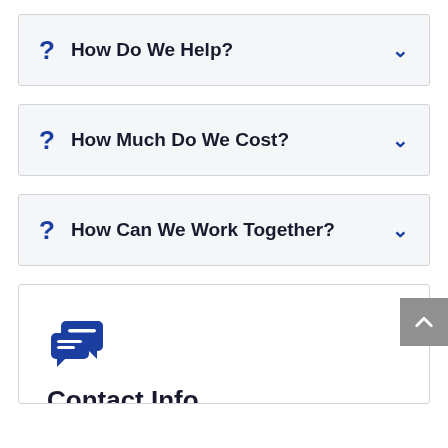How Do We Help?
How Much Do We Cost?
How Can We Work Together?
[Figure (illustration): Chat/message bubble icon in dark blue]
Contact Info